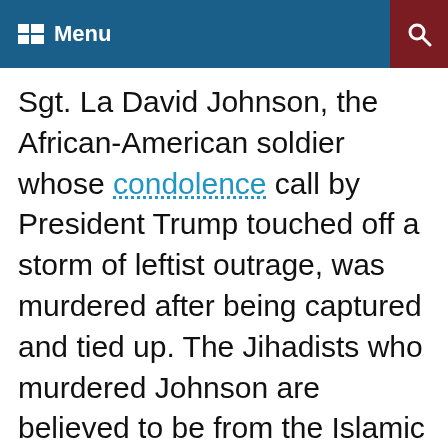Menu
Sgt. La David Johnson, the African-American soldier whose condolence call by President Trump touched off a storm of leftist outrage, was murdered after being captured and tied up. The Jihadists who murdered Johnson are believed to be from the Islamic State in the Greater Sahara, an ISIS affiliate empowered by the